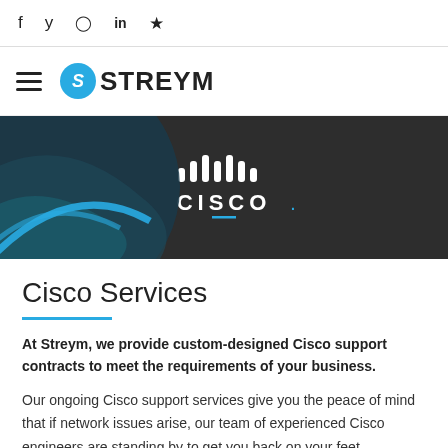f  y  (instagram)  in  ★
[Figure (logo): Streym logo with hamburger menu icon. Circle with stylized S in cyan/blue, followed by STREYM text in bold dark letters.]
[Figure (photo): Cisco banner: dark grey background with teal arc design on left, white Cisco logo (bars and CISCO wordmark) centered, small teal underline accent below.]
Cisco Services
At Streym, we provide custom-designed Cisco support contracts to meet the requirements of your business.
Our ongoing Cisco support services give you the peace of mind that if network issues arise, our team of experienced Cisco engineers are standing by to get you back on your feet.